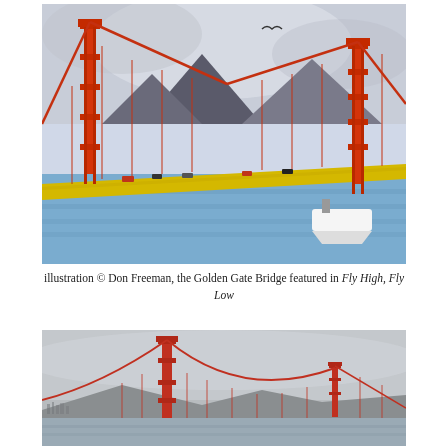[Figure (illustration): Color pencil illustration of the Golden Gate Bridge by Don Freeman, showing two orange towers with suspension cables, a yellow roadway with cars, blue water below, mountains and cloudy sky in background, and a boat in the lower right]
illustration © Don Freeman, the Golden Gate Bridge featured in Fly High, Fly Low
[Figure (photo): Photograph of the Golden Gate Bridge from a distance, showing two red-orange towers with suspension cables, hazy gray sky, mountains in background, and water in foreground with faint city skyline on the left]